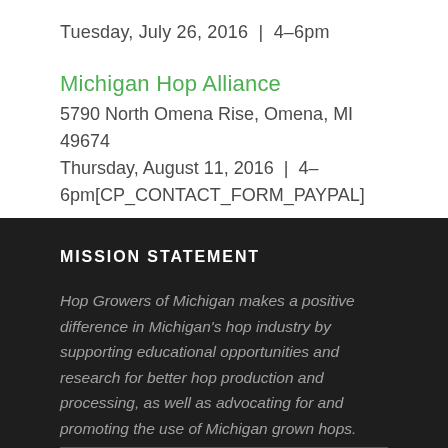Tuesday, July 26, 2016  |  4–6pm
Michigan Hop Alliance
5790 North Omena Rise, Omena, MI 49674
Thursday, August 11, 2016  |  4–6pm[CP_CONTACT_FORM_PAYPAL]
MISSION STATEMENT
Hop Growers of Michigan makes a positive difference in Michigan's hop industry by supporting educational opportunities and research for better hop production and processing, as well as advocating for and promoting the use of Michigan grown hops.